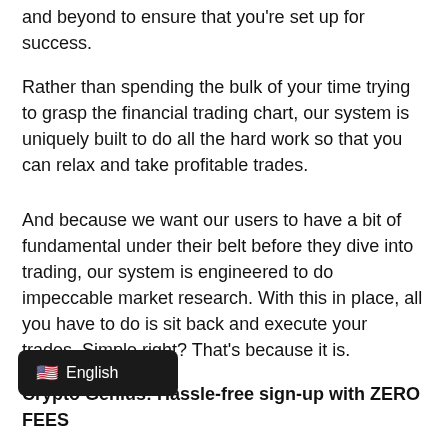and beyond to ensure that you're set up for success.
Rather than spending the bulk of your time trying to grasp the financial trading chart, our system is uniquely built to do all the hard work so that you can relax and take profitable trades.
And because we want our users to have a bit of fundamental under their belt before they dive into trading, our system is engineered to do impeccable market research. With this in place, all you have to do is sit back and execute your trades. Simple right? That's because it is.
Crypto Genius: Hassle-free sign-up with ZERO FEES
Signing up for Crypto Genius is an easy and hassle-free three-step process. And guess what, we don't charge any fees you're worried about any hidden charges, we u your fears to rest as we make our
[Figure (other): UI tooltip overlay showing a US flag emoji followed by the text 'English' on a dark background, partially covering the body text]